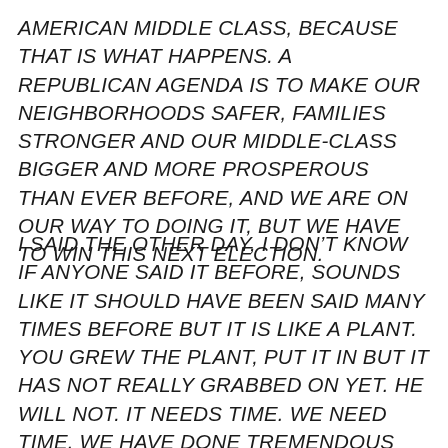AMERICAN MIDDLE CLASS, BECAUSE THAT IS WHAT HAPPENS. A REPUBLICAN AGENDA IS TO MAKE OUR NEIGHBORHOODS SAFER, FAMILIES STRONGER AND OUR MIDDLE-CLASS BIGGER AND MORE PROSPEROUS THAN EVER BEFORE, AND WE ARE ON OUR WAY TO DOING IT, BUT WE HAVE TO WIN THIS NEXT ELECTION.
I SAID THE OTHER DAY, I DON'T KNOW IF ANYONE SAID IT BEFORE, SOUNDS LIKE IT SHOULD HAVE BEEN SAID MANY TIMES BEFORE BUT IT IS LIKE A PLANT. YOU GREW THE PLANT, PUT IT IN BUT IT HAS NOT REALLY GRABBED ON YET. HE WILL NOT. IT NEEDS TIME. WE NEED TIME. WE HAVE DONE TREMENDOUS CHANGES, TREMENDOUS, AND WE WILL DO OTHER CHANGES, GREAT OTHER